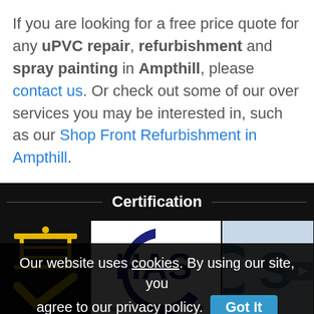If you are looking for a free price quote for any uPVC repair, refurbishment and spray painting in Ampthill, please contact us. Or check out some of our over services you may be interested in, such as our Shop Front Refurbishment in Ampthill.
Certification
[Figure (logo): Three certification logos: a yellow scaffold/IPAF logo with checkmark, CHAS Accredited Contractor logo (blue circular logo on white background), and a partially visible CSC logo on light blue background.]
Our website uses cookies. By using our site, you agree to our privacy policy. Got It